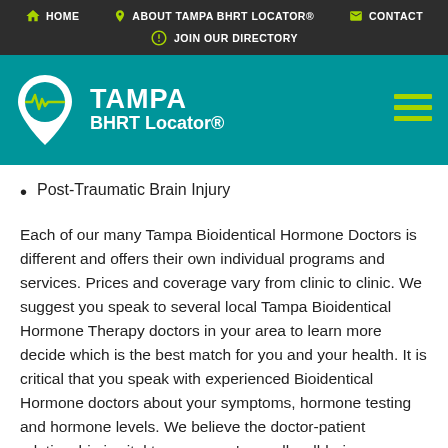HOME | ABOUT TAMPA BHRT LOCATOR® | CONTACT | JOIN OUR DIRECTORY
[Figure (logo): Tampa BHRT Locator® logo with teal background, map pin icon with heartbeat line, and site name in white text]
Post-Traumatic Brain Injury
Each of our many Tampa Bioidentical Hormone Doctors is different and offers their own individual programs and services. Prices and coverage vary from clinic to clinic. We suggest you speak to several local Tampa Bioidentical Hormone Therapy doctors in your area to learn more decide which is the best match for you and your health. It is critical that you speak with experienced Bioidentical Hormone doctors about your symptoms, hormone testing and hormone levels. We believe the doctor-patient relationship is vital to a persons' overall well-being.